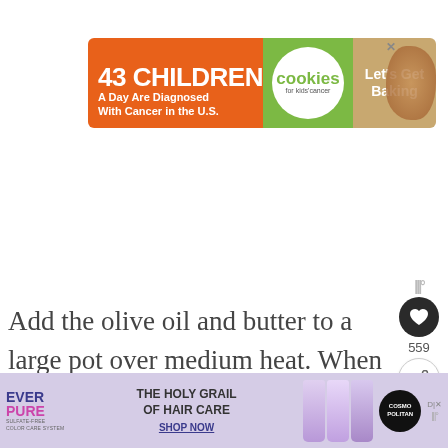[Figure (other): Advertisement banner: '43 CHILDREN A Day Are Diagnosed With Cancer in the U.S.' with Cookies for Kids' Cancer logo and 'Let's Get Baking' call to action. Orange and green background with cookie graphic.]
Add the olive oil and butter to a large pot over medium heat. When the butter has melted, add the mushrooms and onions then season with salt and pepper. S... several minutes until the onions have
[Figure (other): Side UI elements: weather icon, heart/save button with count 559, share button]
[Figure (other): What's Next popup with thumbnail and text 'BLT Salad Recipe']
[Figure (other): Bottom advertisement banner for Ever Pure hair care product: 'THE HOLY GRAIL OF HAIR CARE - SHOP NOW' with Cosmopolitan branding]